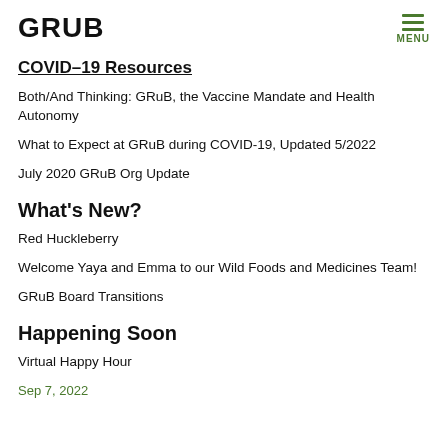GRUB
COVID–19 Resources
Both/And Thinking: GRuB, the Vaccine Mandate and Health Autonomy
What to Expect at GRuB during COVID-19, Updated 5/2022
July 2020 GRuB Org Update
What's New?
Red Huckleberry
Welcome Yaya and Emma to our Wild Foods and Medicines Team!
GRuB Board Transitions
Happening Soon
Virtual Happy Hour
Sep 7, 2022